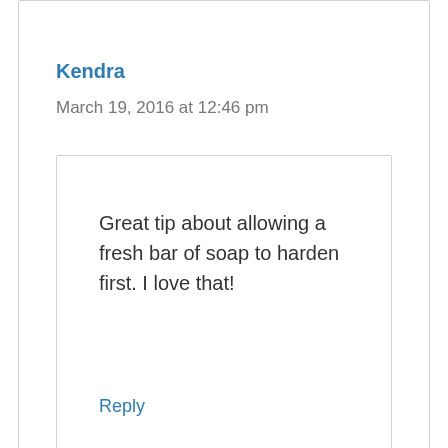Kendra
March 19, 2016 at 12:46 pm
Great tip about allowing a fresh bar of soap to harden first. I love that!
Reply
crafty_cristy
January 31, 2014 at 3:38 pm